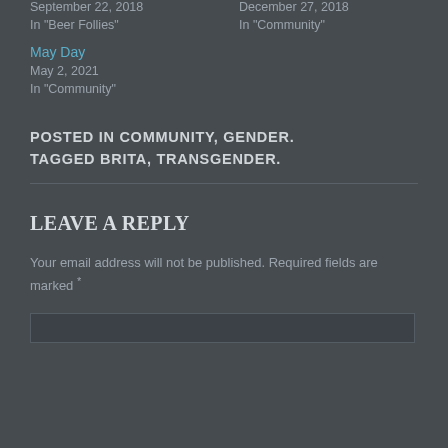September 22, 2018
In "Beer Follies"
December 27, 2018
In "Community"
May Day
May 2, 2021
In "Community"
POSTED IN COMMUNITY, GENDER. TAGGED BRITA, TRANSGENDER.
LEAVE A REPLY
Your email address will not be published. Required fields are marked *